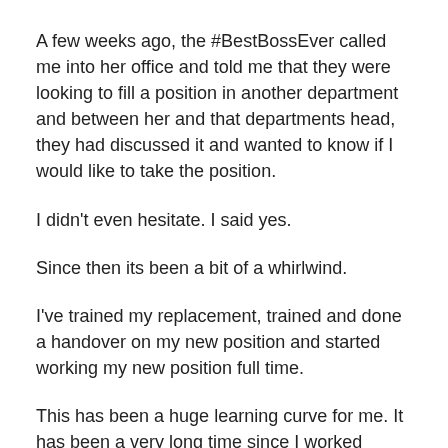A few weeks ago, the #BestBossEver called me into her office and told me that they were looking to fill a position in another department and between her and that departments head, they had discussed it and wanted to know if I would like to take the position.
I didn't even hesitate. I said yes.
Since then its been a bit of a whirlwind.
I've trained my replacement, trained and done a handover on my new position and started working my new position full time.
This has been a huge learning curve for me. It has been a very long time since I worked directly with clients and its taken some getting used to. But I feel like I'm getting the hang of things.